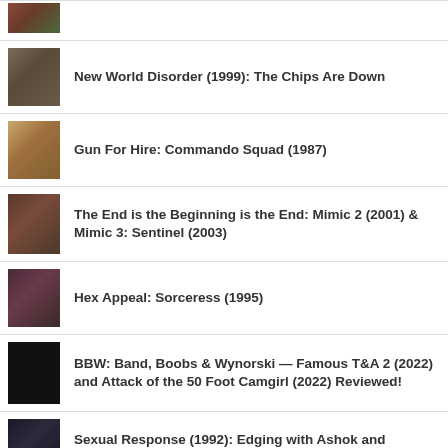(partial/cropped item at top)
New World Disorder (1999): The Chips Are Down
Gun For Hire: Commando Squad (1987)
The End is the Beginning is the End: Mimic 2 (2001) & Mimic 3: Sentinel (2003)
Hex Appeal: Sorceress (1995)
BBW: Band, Boobs & Wynorski — Famous T&A 2 (2022) and Attack of the 50 Foot Camgirl (2022) Reviewed!
Sexual Response (1992): Edging with Ashok and Shannon